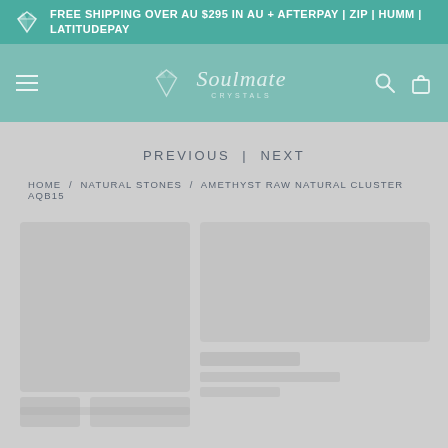FREE SHIPPING OVER AU $295 IN AU + AFTERPAY | ZIP | HUMM | LATITUDEPAY
[Figure (logo): Soulmate Crystals logo with diamond icon, navigation hamburger menu, search and cart icons on teal background]
PREVIOUS | NEXT
HOME / NATURAL STONES / AMETHYST RAW NATURAL CLUSTER AQB15
[Figure (photo): Blurred/loading product image area with gray placeholder content]